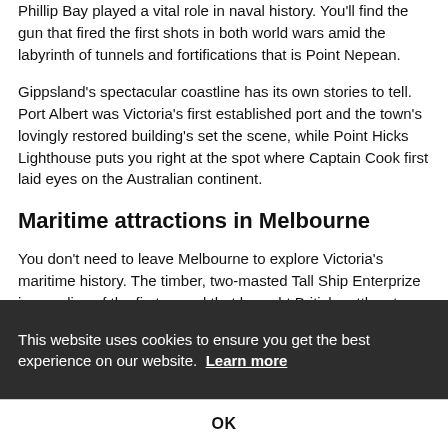Phillip Bay played a vital role in naval history. You'll find the gun that fired the first shots in both world wars amid the labyrinth of tunnels and fortifications that is Point Nepean.
Gippsland's spectacular coastline has its own stories to tell. Port Albert was Victoria's first established port and the town's lovingly restored building's set the scene, while Point Hicks Lighthouse puts you right at the spot where Captain Cook first laid eyes on the Australian continent.
Maritime attractions in Melbourne
You don't need to leave Melbourne to explore Victoria's maritime history. The timber, two-masted Tall Ship Enterprize is a replica of the first vessel that brought British settlers to Melbourne in 1835. Visitors can set sail from Docklands on a bay cruise, charter, or overnight voyage to Geelong.
This website uses cookies to ensure you get the best experience on our website. Learn more
OK